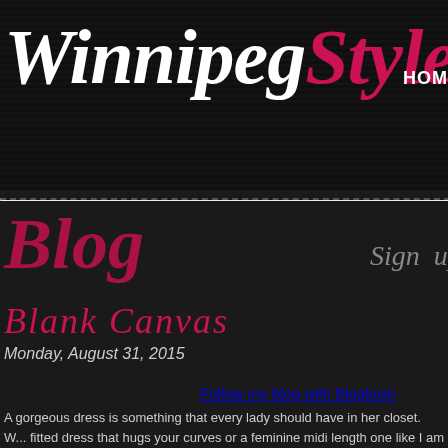WinnipegStyle   HOME
Blog
Sign up for my
Blank Canvas
Monday, August 31, 2015
Follow my blog with Bloglovin
A gorgeous dress is something that every lady should have in her closet.  W... fitted dress that hugs your curves or a feminine midi length one like I am wea... here to see it).  Dresses really can be perfect for any occasion, you just have... a dress is so easy to throw on I always think of it as a blank canvas for acce-... of my outfits unique, fun and completely me so accessories are usually the b... absolutely adore this dress as it is so sweet but the body chain and safety pi...